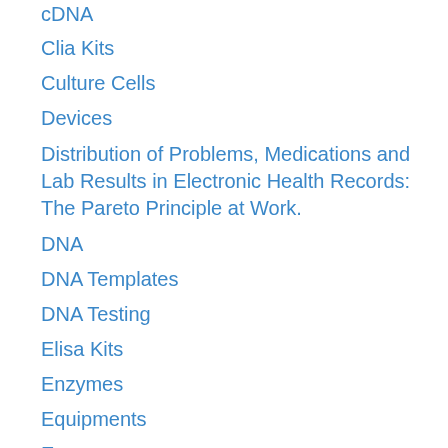cDNA
Clia Kits
Culture Cells
Devices
Distribution of Problems, Medications and Lab Results in Electronic Health Records: The Pareto Principle at Work.
DNA
DNA Templates
DNA Testing
Elisa Kits
Enzymes
Equipments
Exosomes
Gels
Isotypes